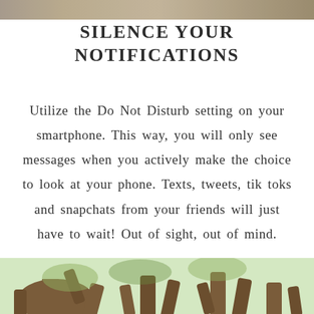[Figure (photo): Partial photo at top of page, appears to be a nature/outdoor scene]
SILENCE YOUR NOTIFICATIONS
Utilize the Do Not Disturb setting on your smartphone. This way, you will only see messages when you actively make the choice to look at your phone. Texts, tweets, tik toks and snapchats from your friends will just have to wait! Out of sight, out of mind.
[Figure (photo): Photo of tree branches at bottom of page]